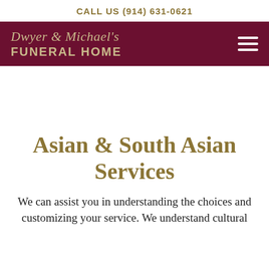CALL US (914) 631-0621
Dwyer & Michael's FUNERAL HOME
Asian & South Asian Services
We can assist you in understanding the choices and customizing your service. We understand cultural